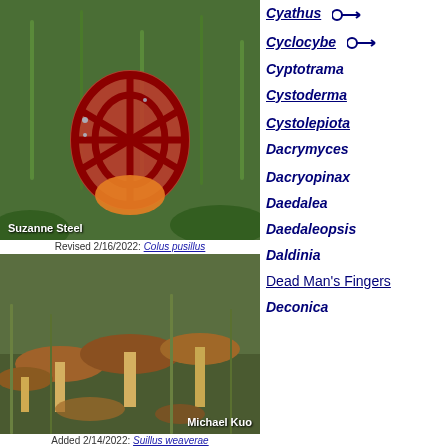[Figure (photo): Red coral-like fungus (Clathrus ruber / Colus pusillus) against green grass background, photographer credit Suzanne Steel]
Revised 2/16/2022: Colus pusillus
[Figure (photo): Brown mushrooms (Suillus weaverae) on grass, photographer credit Michael Kuo]
Added 2/14/2022: Suillus weaverae
[Figure (photo): Pale/white mushroom slice, photographer credit Melissa Kuo]
Cyathus [key icon]
Cyclocybe [key icon]
Cyptotrama
Cystoderma
Cystolepiota
Dacrymyces
Dacryopinax
Daedalea
Daedaleopsis
Daldinia
Dead Man's Fingers
Deconica